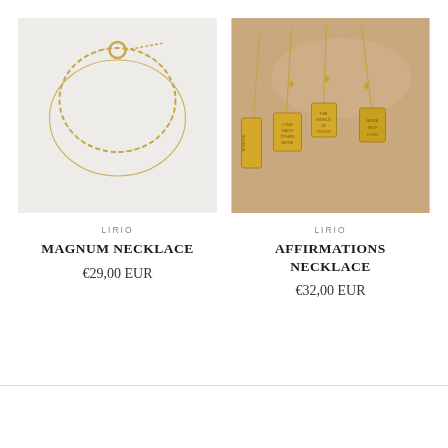[Figure (photo): Gold layered chain necklace with a circular ring detail and a thinner chain, displayed on a light grey background.]
LIRIO
MAGNUM NECKLACE
€29,00 EUR
[Figure (photo): Multiple gold pendant necklaces with rectangular engraved tags, arranged on a beige/nude fabric background. Tags have text such as 'LOVE EACH OTHER MORE', 'THE WORLD IS YOURS', 'BREATHE', 'MORE SELF LOVE'.]
LIRIO
AFFIRMATIONS NECKLACE
€32,00 EUR